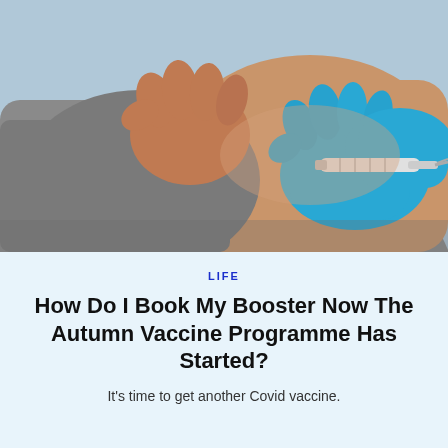[Figure (photo): Close-up photo of a person rolling up their sleeve while a healthcare worker wearing blue latex gloves administers a vaccine injection into the upper arm.]
LIFE
How Do I Book My Booster Now The Autumn Vaccine Programme Has Started?
It's time to get another Covid vaccine.